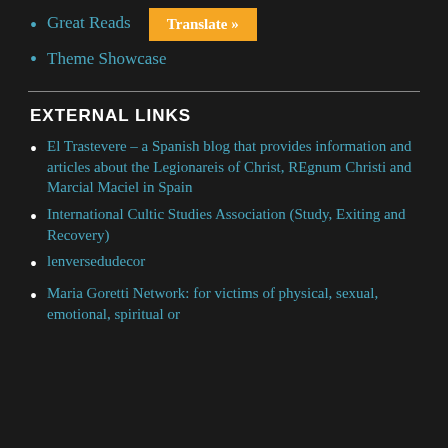Great Reads  Translate »
Theme Showcase
EXTERNAL LINKS
El Trastevere – a Spanish blog that provides information and articles about the Legionareis of Christ, REgnum Christi and Marcial Maciel in Spain
International Cultic Studies Association (Study, Exiting and Recovery)
lenversedudecor
Maria Goretti Network: for victims of physical, sexual, emotional, spiritual or